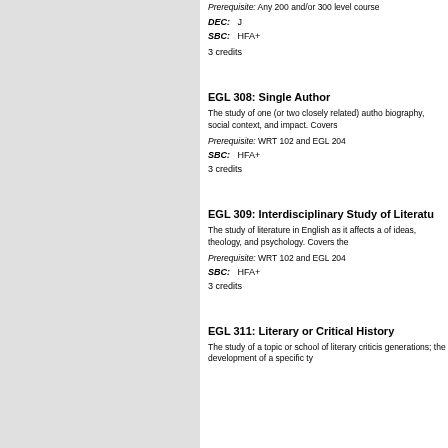Prerequisite: Any 200 and/or 300 level course
DEC: J
SBC: HFA+
3 credits
EGL 308: Single Author
The study of one (or two closely related) autho biography, social context, and impact. Covers
Prerequisite: WRT 102 and EGL 204
SBC: HFA+
3 credits
EGL 309: Interdisciplinary Study of Literatu
The study of literature in English as it affects a of ideas, theology, and psychology. Covers the
Prerequisite: WRT 102 and EGL 204
SBC: HFA+
3 credits
EGL 311: Literary or Critical History
The study of a topic or school of literary criticis generations; the development of a specific ty